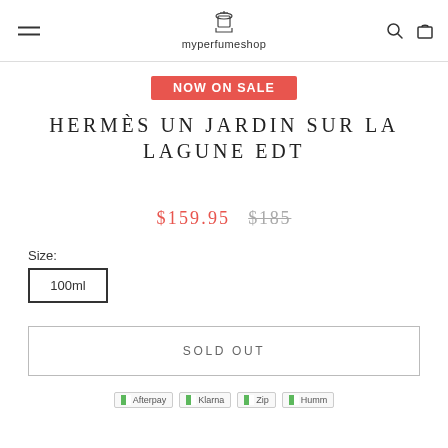myperfumeshop
NOW ON SALE
HERMÈS UN JARDIN SUR LA LAGUNE EDT
$159.95  $185
Size:
100ml
SOLD OUT
Afterpay Klarna Zip Humm